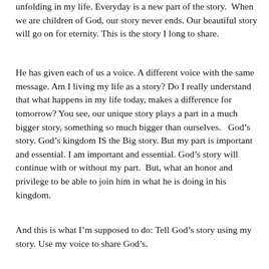unfolding in my life.  Everyday is a new part of the story.  When we are children of God, our story never ends.  Our beautiful story will go on for eternity.  This is the story I long to share.
He has given each of us a voice.  A different voice with the same message.  Am I living my life as a story?  Do I really understand that what happens in my life today, makes a difference for tomorrow?  You see, our unique story plays a part in a much bigger story, something so much bigger than ourselves.   God’s story. God’s kingdom IS the Big story.  But my part is important and essential.  I am important and essential.  God’s story will continue with or without my part.  But, what an honor and privilege to be able to join him in what he is doing in his kingdom.
And this is what I’m supposed to do: Tell God’s story using my story. Use my voice to share God’s.